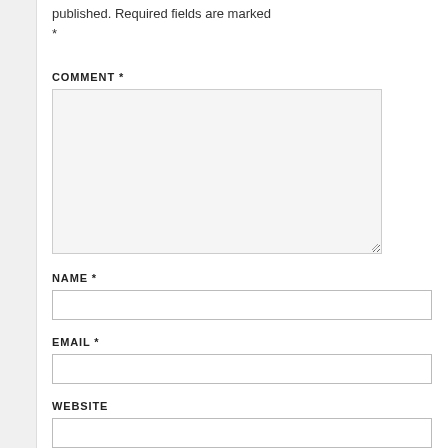published. Required fields are marked *
COMMENT *
[Figure (other): Large textarea input box for comment]
NAME *
[Figure (other): Single-line text input for name]
EMAIL *
[Figure (other): Single-line text input for email]
WEBSITE
[Figure (other): Single-line text input for website]